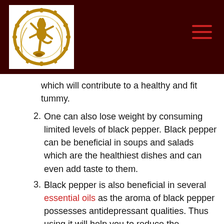[Figure (logo): Nataraja (dancing Shiva) bronze sculpture logo inside a white box on a dark red header bar]
which will contribute to a healthy and fit tummy.
One can also lose weight by consuming limited levels of black pepper. Black pepper can be beneficial in soups and salads which are the healthiest dishes and can even add taste to them.
Black pepper is also beneficial in several essential oils as the aroma of black pepper possesses antidepressant qualities. Thus using it will help you to reduce the depression or any kind of stress that you are suffering.